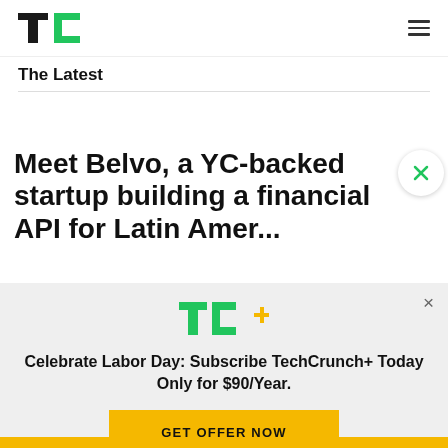TechCrunch — TC
The Latest
Meet Belvo, a YC-backed startup building a financial API for Latin America
Celebrate Labor Day: Subscribe TechCrunch+ Today Only for $90/Year.
GET OFFER NOW